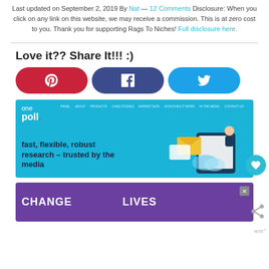Last updated on September 2, 2019 By Nat — 12 Comments Disclosure: When you click on any link on this website, we may receive a commission. This is at zero cost to you. Thank you for supporting Rags To Niches! Full disclosure here.
Love it?? Share It!!! :)
[Figure (infographic): Three social share buttons: Pinterest (red, P icon), Facebook (dark blue, f icon), Twitter (light blue, bird icon)]
[Figure (screenshot): OnePoll advertisement banner: blue background, 'one poll.' logo top left, navigation links, tagline 'fast, flexible, robust research – trusted by the media', illustration of person on phone on right side]
[Figure (infographic): Purple advertisement banner with cat photos and text 'CHANGE LIVES' with a close button]